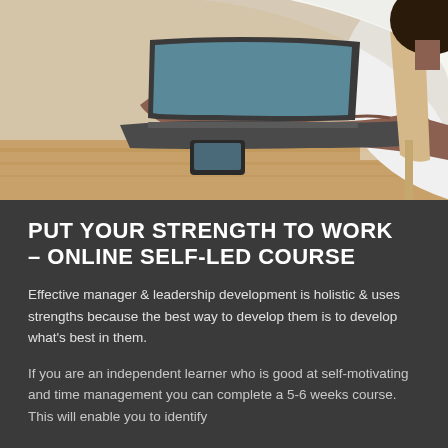[Figure (photo): Person typing on a laptop at a wooden desk, viewed from the side, wearing a white t-shirt, with a smartphone on the desk nearby.]
PUT YOUR STRENGTH TO WORK – ONLINE SELF-LED COURSE
Effective manager & leadership development is holistic & uses strengths because the best way to develop them is to develop what's best in them.
If you are an independent learner who is good at self-motivating and time management you can complete a 5-6 weeks course. This will enable you to identify